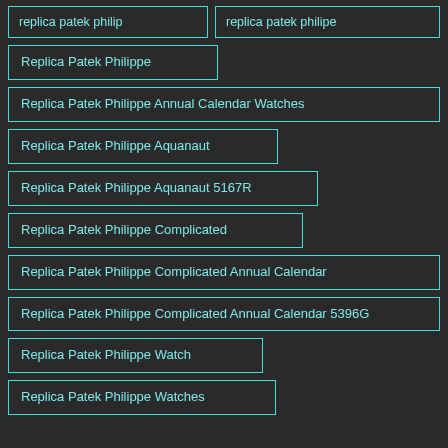replica patek philip
replica patek philipe
Replica Patek Philippe
Replica Patek Philippe Annual Calendar Watches
Replica Patek Philippe Aquanaut
Replica Patek Philippe Aquanaut 5167R
Replica Patek Philippe Complicated
Replica Patek Philippe Complicated Annual Calendar
Replica Patek Philippe Complicated Annual Calendar 5396G
Replica Patek Philippe Watch
Replica Patek Philippe Watches